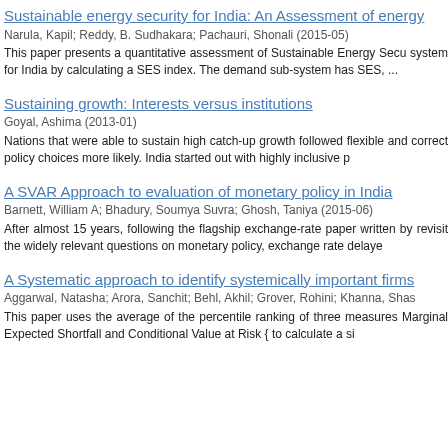Sustainable energy security for India: An Assessment of energy...
Narula, Kapil; Reddy, B. Sudhakara; Pachauri, Shonali (2015-05)
This paper presents a quantitative assessment of Sustainable Energy Security (SES) system for India by calculating a SES index. The demand sub-system has SES, ...
Sustaining growth: Interests versus institutions
Goyal, Ashima (2013-01)
Nations that were able to sustain high catch-up growth followed flexible and correct policy choices more likely. India started out with highly inclusive p...
A SVAR Approach to evaluation of monetary policy in India
Barnett, William A; Bhadury, Soumya Suvra; Ghosh, Taniya (2015-06)
After almost 15 years, following the flagship exchange-rate paper written by revisit the widely relevant questions on monetary policy, exchange rate delaye...
A Systematic approach to identify systemically important firms
Aggarwal, Natasha; Arora, Sanchit; Behl, Akhil; Grover, Rohini; Khanna, Shas...
This paper uses the average of the percentile ranking of three measures Marginal Expected Shortfall and Conditional Value at Risk { to calculate a si...